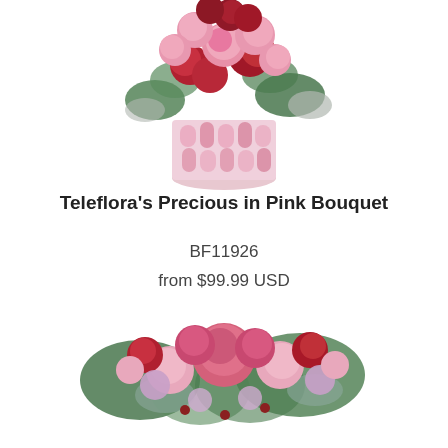[Figure (photo): Teleflora's Precious in Pink Bouquet - pink and red roses in a pink mosaic vase, partially cropped at top]
Teleflora's Precious in Pink Bouquet
BF11926
from $99.99 USD
Order Now
[Figure (photo): Second flower bouquet - pink and red roses arrangement, partially visible at bottom of page]